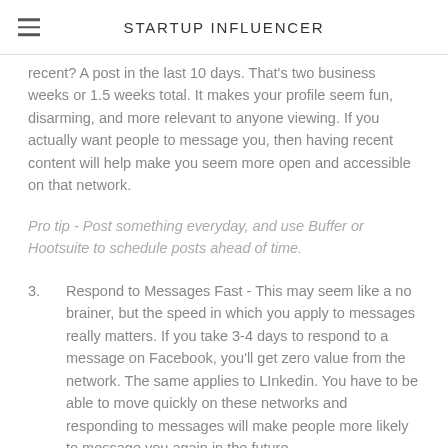STARTUP INFLUENCER
recent? A post in the last 10 days. That's two business weeks or 1.5 weeks total. It makes your profile seem fun, disarming, and more relevant to anyone viewing. If you actually want people to message you, then having recent content will help make you seem more open and accessible on that network.
Pro tip - Post something everyday, and use Buffer or Hootsuite to schedule posts ahead of time.
3.    Respond to Messages Fast - This may seem like a no brainer, but the speed in which you apply to messages really matters. If you take 3-4 days to respond to a message on Facebook, you'll get zero value from the network. The same applies to LInkedin. You have to be able to move quickly on these networks and responding to messages will make people more likely to message you again in the future.